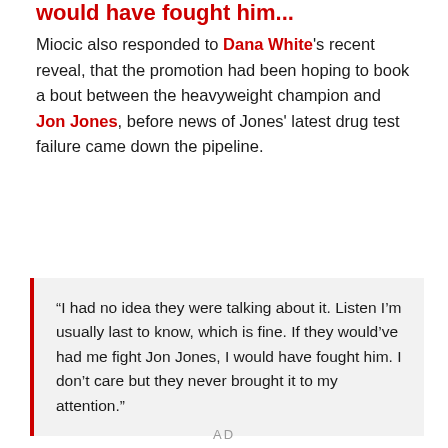would have fought him...
Miocic also responded to Dana White's recent reveal, that the promotion had been hoping to book a bout between the heavyweight champion and Jon Jones, before news of Jones' latest drug test failure came down the pipeline.
“I had no idea they were talking about it. Listen I’m usually last to know, which is fine. If they would’ve had me fight Jon Jones, I would have fought him. I don’t care but they never brought it to my attention.”
AD